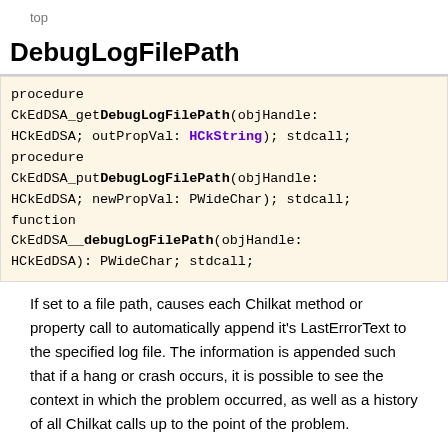top
DebugLogFilePath
procedure CkEdDSA_getDebugLogFilePath(objHandle: HCkEdDSA; outPropVal: HCkString); stdcall;
procedure CkEdDSA_putDebugLogFilePath(objHandle: HCkEdDSA; newPropVal: PWideChar); stdcall;
function CkEdDSA__debugLogFilePath(objHandle: HCkEdDSA): PWideChar; stdcall;
If set to a file path, causes each Chilkat method or property call to automatically append it's LastErrorText to the specified log file. The information is appended such that if a hang or crash occurs, it is possible to see the context in which the problem occurred, as well as a history of all Chilkat calls up to the point of the problem.